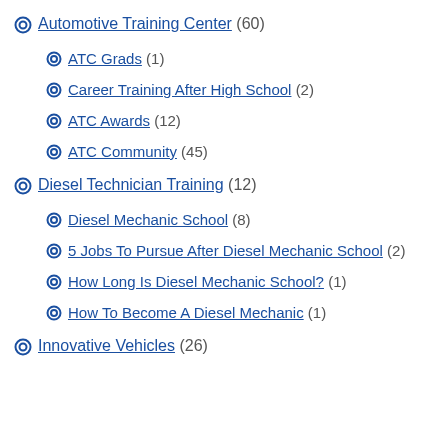Automotive Training Center (60)
ATC Grads (1)
Career Training After High School (2)
ATC Awards (12)
ATC Community (45)
Diesel Technician Training (12)
Diesel Mechanic School (8)
5 Jobs To Pursue After Diesel Mechanic School (2)
How Long Is Diesel Mechanic School? (1)
How To Become A Diesel Mechanic (1)
Innovative Vehicles (26)